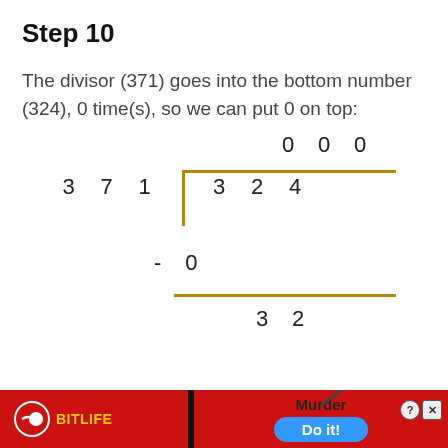Step 10
The divisor (371) goes into the bottom number (324), 0 time(s), so we can put 0 on top:
[Figure (math-figure): Long division diagram showing 371 dividing 324 with quotient digits 0 0 0, subtraction of 0, and remainder 3 2]
[Figure (other): Advertisement banner for BitLife app with Murder Do it! text]